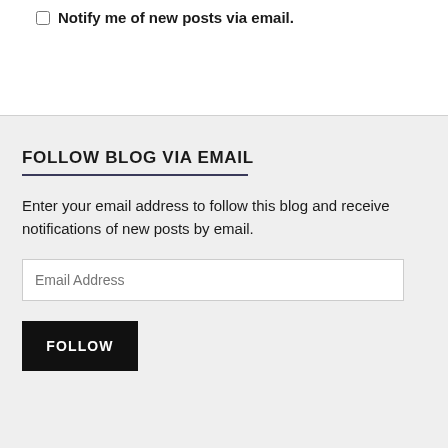Notify me of new posts via email.
FOLLOW BLOG VIA EMAIL
Enter your email address to follow this blog and receive notifications of new posts by email.
Email Address
FOLLOW